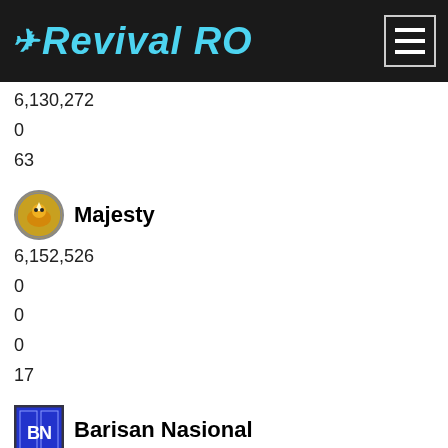Revival RO
6,130,272
0
63
Majesty
6,152,526
0
0
0
17
Barisan Nasional
0
0
0
0
0
Number One
543
0